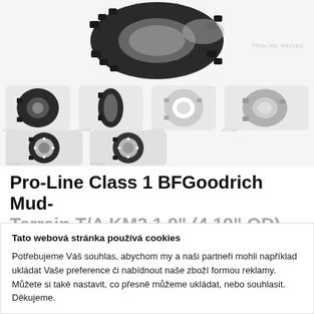[Figure (photo): Product photos of Pro-Line Class 1 BFGoodrich Mud-Terrain tire: large main image on top, four thumbnail views in middle row, two mounted wheel views in bottom row]
Pro-Line Class 1 BFGoodrich Mud-Terrain T/A KM3 1.9" (4.19" OD) G8 Rock Terrain Truck Tires for F/R 1.9" Crawler
Tato webová stránka používá cookies
Potřebujeme Váš souhlas, abychom my a naši partneři mohli například ukládat Vaše preference či nabídnout naše zboží formou reklamy. Můžete si také nastavit, co přesně můžeme ukládat, nebo souhlasit. Děkujeme.